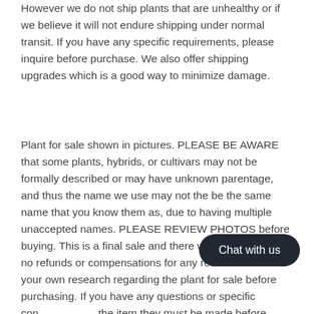However we do not ship plants that are unhealthy or if we believe it will not endure shipping under normal transit. If you have any specific requirements, please inquire before purchase. We also offer shipping upgrades which is a good way to minimize damage.
Plant for sale shown in pictures. PLEASE BE AWARE that some plants, hybrids, or cultivars may not be formally described or may have unknown parentage, and thus the name we use may not the be the same name that you know them as, due to having multiple unaccepted names. PLEASE REVIEW PHOTOS before buying. This is a final sale and there will be absolutely no refunds or compensations for any reason. Please do your own research regarding the plant for sale before purchasing. If you have any questions or specific concerns about the item they must be made before purchasing. Once we receive an order we cannot guarantee that we will be able to
[Figure (other): Dark rounded chat button overlay with text 'Chat with us']